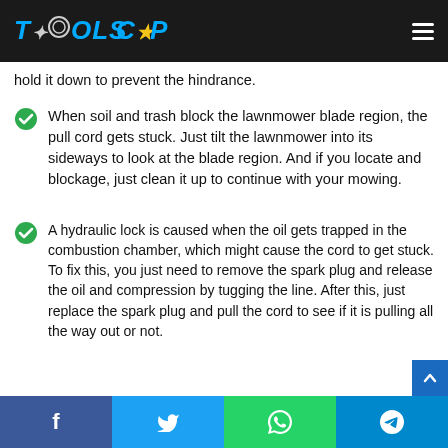TOOLSCOP
hold it down to prevent the hindrance.
When soil and trash block the lawnmower blade region, the pull cord gets stuck. Just tilt the lawnmower into its sideways to look at the blade region. And if you locate and blockage, just clean it up to continue with your mowing.
A hydraulic lock is caused when the oil gets trapped in the combustion chamber, which might cause the cord to get stuck. To fix this, you just need to remove the spark plug and release the oil and compression by tugging the line. After this, just replace the spark plug and pull the cord to see if it is pulling all the way out or not.
Grass and other debris sometimes also bend the blade; as a result of which when the pull cord is pulled, the blade remains non-functional, so you need to replace it with a new and unbent one.
Like the blade, the mower's deck also gets bent, sometimes making the cord challenging to be pulled out
f  t  (whatsapp)  (telegram)